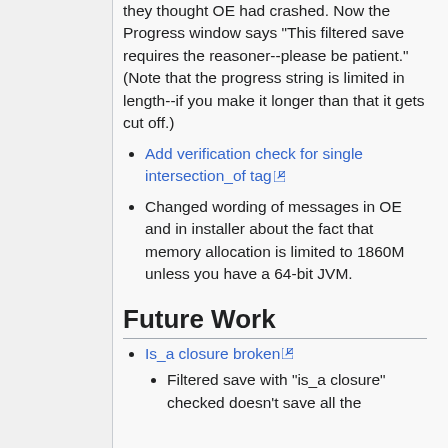they thought OE had crashed. Now the Progress window says "This filtered save requires the reasoner--please be patient." (Note that the progress string is limited in length--if you make it longer than that it gets cut off.)
Add verification check for single intersection_of tag
Changed wording of messages in OE and in installer about the fact that memory allocation is limited to 1860M unless you have a 64-bit JVM.
Future Work
Is_a closure broken
Filtered save with "is_a closure" checked doesn't save all the